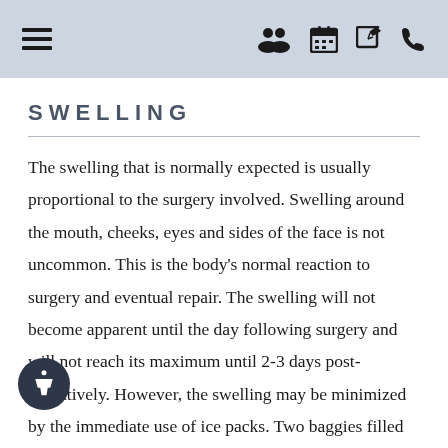Navigation header with hamburger menu and icons for contacts, calendar, edit, and phone
SWELLING
The swelling that is normally expected is usually proportional to the surgery involved. Swelling around the mouth, cheeks, eyes and sides of the face is not uncommon. This is the body's normal reaction to surgery and eventual repair. The swelling will not become apparent until the day following surgery and will not reach its maximum until 2-3 days post-operatively. However, the swelling may be minimized by the immediate use of ice packs. Two baggies filled with ice, or ice packs should be applied to the sides of the face...